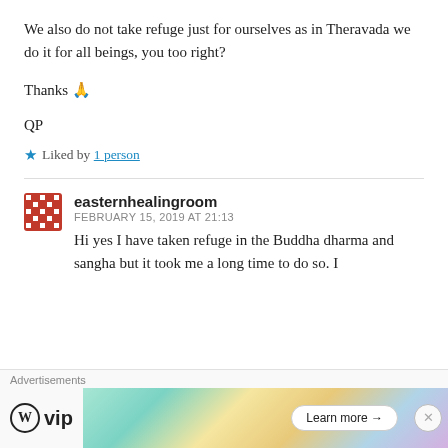We also do not take refuge just for ourselves as in Theravada we do it for all beings, you too right?
Thanks 🙏
QP
★ Liked by 1 person
easternhealingroom
FEBRUARY 15, 2019 AT 21:13
Hi yes I have taken refuge in the Buddha dharma and sangha but it took me a long time to do so. I
Advertisements
[Figure (screenshot): WordPress VIP advertisement banner with logo and Learn more button]